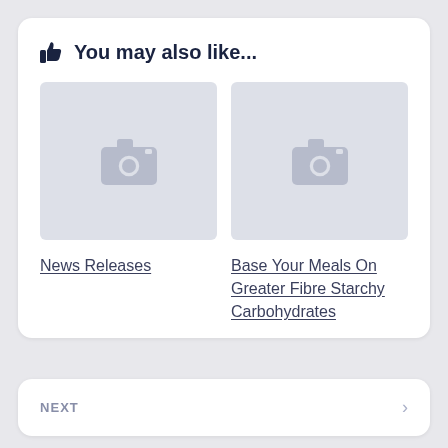👍 You may also like...
[Figure (photo): Placeholder image thumbnail with camera icon (grey background)]
[Figure (photo): Placeholder image thumbnail with camera icon (grey background)]
News Releases
Base Your Meals On Greater Fibre Starchy Carbohydrates
NEXT